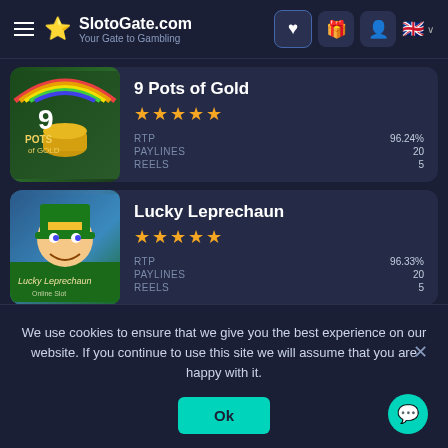SlotoGate.com — Your Gate to Gambling
9 Pots of Gold — ★★★★★ — RTP: 96.24% — PAYLINES: 20 — REELS: 5
Lucky Leprechaun — ★★★★★ — RTP: 96.33% — PAYLINES: 20 — REELS: 5
Immortal Romance — ★★★★★
We use cookies to ensure that we give you the best experience on our website. If you continue to use this site we will assume that you are happy with it.